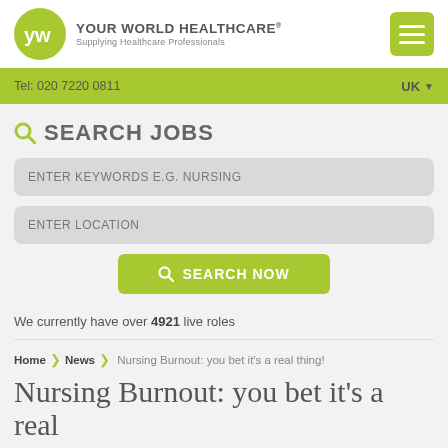YOUR WORLD HEALTHCARE® Supplying Healthcare Professionals
Tel: 020 7220 0811  UK
SEARCH JOBS
ENTER KEYWORDS E.G. NURSING
ENTER LOCATION
SEARCH NOW
We currently have over 4921 live roles
Home > News > Nursing Burnout: you bet it's a real thing!
Nursing Burnout: you bet it's a real